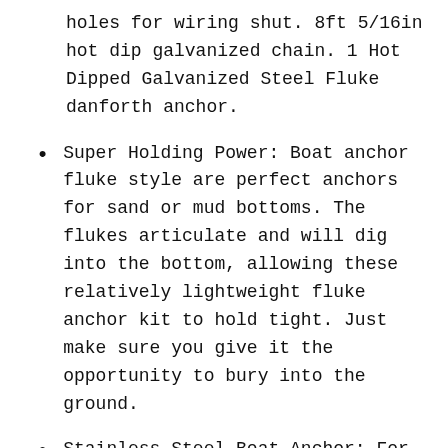holes for wiring shut. 8ft 5/16in hot dip galvanized chain. 1 Hot Dipped Galvanized Steel Fluke danforth anchor.
Super Holding Power: Boat anchor fluke style are perfect anchors for sand or mud bottoms. The flukes articulate and will dig into the bottom, allowing these relatively lightweight fluke anchor kit to hold tight. Just make sure you give it the opportunity to bury into the ground.
Stainless Steel Boat Anchor: For Medium boats (20-32ft) this is a perfect plug and play kit. No more worrying about buying the boat anchor rope and chain, splicing the line to the chain, drilling a hole for easier retrieval. Just order this and go.
From A Minnesota Boating Anchors